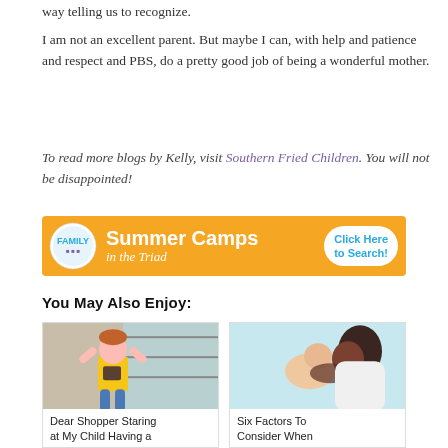way telling us to recognize.
I am not an excellent parent. But maybe I can, with help and patience and respect and PBS, do a pretty good job of being a wonderful mother.
To read more blogs by Kelly, visit Southern Fried Children. You will not be disappointed!
[Figure (infographic): Orange banner advertisement for Summer Camps in the Triad with circular logo on left and 'Click Here to Search!' button on right]
You May Also Enjoy:
[Figure (photo): A young boy in a yellow shirt with a crossbody bag, hands on his head, appearing to have a meltdown in a store aisle]
Dear Shopper Staring at My Child Having a
[Figure (photo): A Black woman holding a newborn baby, looking at the baby against a light blue background]
Six Factors To Consider When